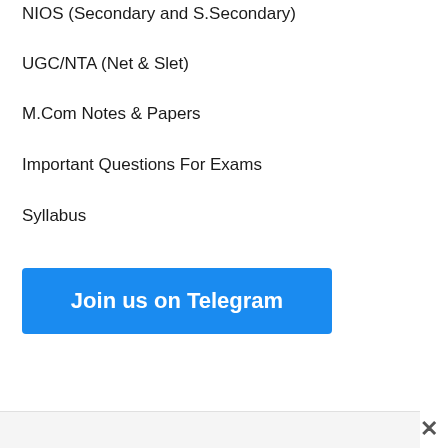NIOS (Secondary and S.Secondary)
UGC/NTA (Net & Slet)
M.Com Notes & Papers
Important Questions For Exams
Syllabus
[Figure (other): Blue button with white text reading 'Join us on Telegram']
×